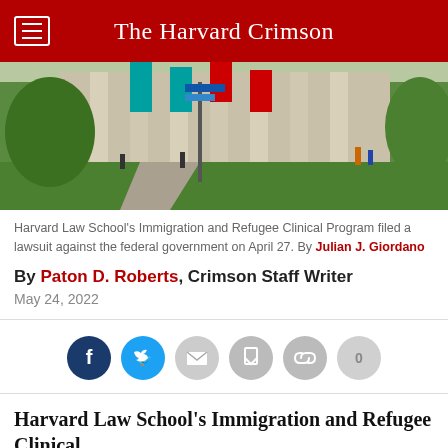The Harvard Crimson
[Figure (photo): Exterior of Harvard Law School building with green trees and colorful banners]
Harvard Law School's Immigration and Refugee Clinical Program filed a lawsuit against the federal government on April 27. By Julian J. Giordano
By Paton D. Roberts, Crimson Staff Writer
May 24, 2022
[Figure (infographic): Social sharing icons: Facebook, Twitter, Email, Share, Link, and a 0 count button]
Harvard Law School's Immigration and Refugee Clinical